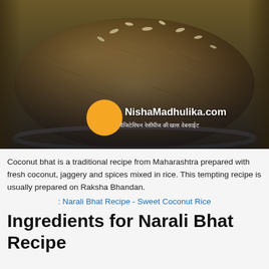[Figure (photo): Photo of Narali Bhat (Sweet Coconut Rice) served on a plate, topped with sliced almonds, with NishaMadhulika.com watermark and orange logo circle]
Coconut bhat is a traditional recipe from Maharashtra prepared with fresh coconut, jaggery and spices mixed in rice. This tempting recipe is usually prepared on Raksha Bhandan.
: Narali Bhat Recipe - Sweet Coconut Rice
Ingredients for Narali Bhat Recipe